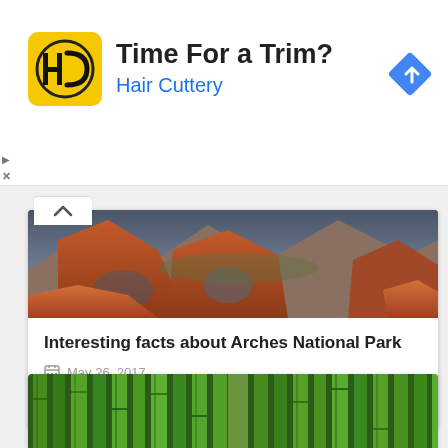[Figure (infographic): Hair Cuttery advertisement banner with yellow square logo showing HC initials, bold title 'Time For a Trim?', blue subtitle 'Hair Cuttery', and blue diamond navigation icon on the right. Small play and close controls at left edge.]
[Figure (photo): Panoramic photo of Arches National Park showing red rock formations and desert landscape with rock arches under dramatic sky]
Interesting facts about Arches National Park
May 26, 2017
[Figure (photo): Photo of a dense bamboo forest with tall green bamboo stalks and light filtering through]